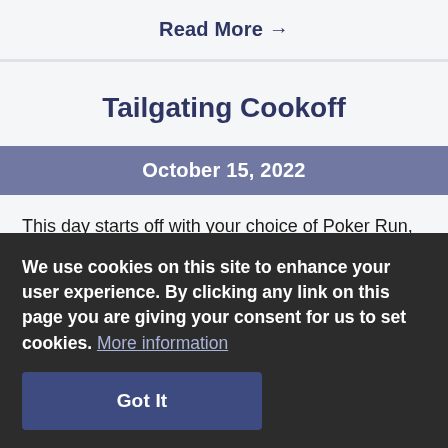Read More →
Tailgating Cookoff
October 15, 2022
This day starts off with your choice of Poker Run, Dog Parade, Fun Walk or joining in the 'heated'
We use cookies on this site to enhance your user experience. By clicking any link on this page you are giving your consent for us to set cookies. More information
Got It